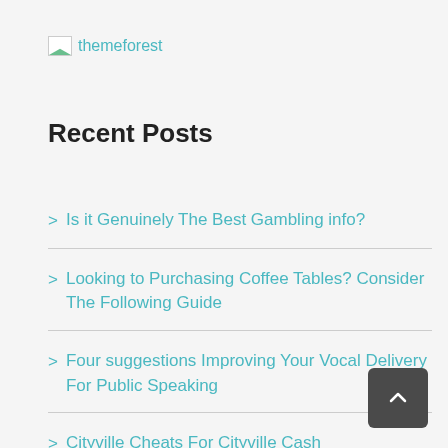[Figure (logo): Themeforest logo: small image icon followed by the text 'themeforest' in teal color]
Recent Posts
Is it Genuinely The Best Gambling info?
Looking to Purchasing Coffee Tables? Consider The Following Guide
Four suggestions Improving Your Vocal Delivery For Public Speaking
Cityville Cheats For Cityville Cash